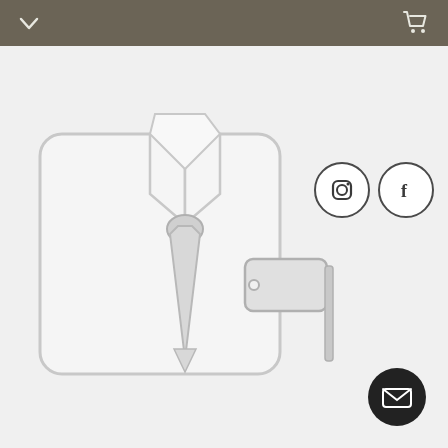[Figure (screenshot): Website screenshot with dark gray top navigation bar containing a chevron/dropdown icon on the left and a shopping cart icon on the right, a large clothing store icon (folded shirt with tie and price tag) in the center, Instagram and Facebook social media circular icon buttons on the right side, and a dark circular email/mail button in the bottom right corner.]